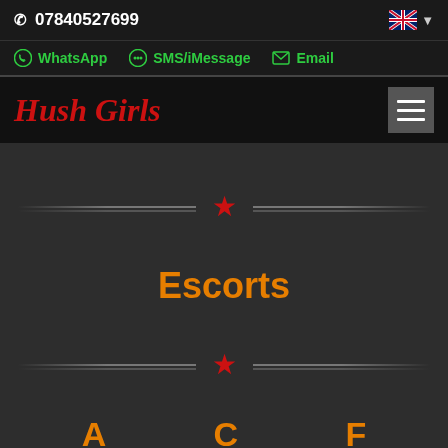07840527699
WhatsApp  SMS/iMessage  Email
Hush Girls
Escorts
A  C  F